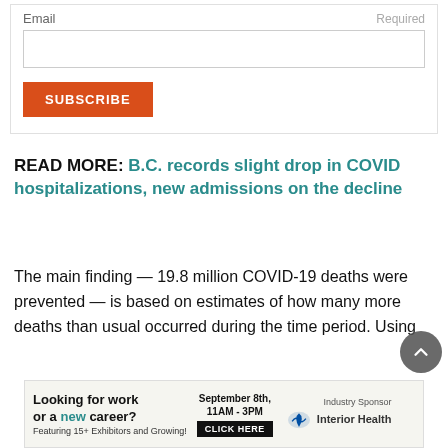Email | Required
SUBSCRIBE
READ MORE: B.C. records slight drop in COVID hospitalizations, new admissions on the decline
The main finding — 19.8 million COVID-19 deaths were prevented — is based on estimates of how many more deaths than usual occurred during the time period. Using
[Figure (other): Advertisement banner: Looking for work or a new career? Featuring 15+ Exhibitors and Growing! September 8th, 11AM - 3PM CLICK HERE. Industry Sponsor: Interior Health]